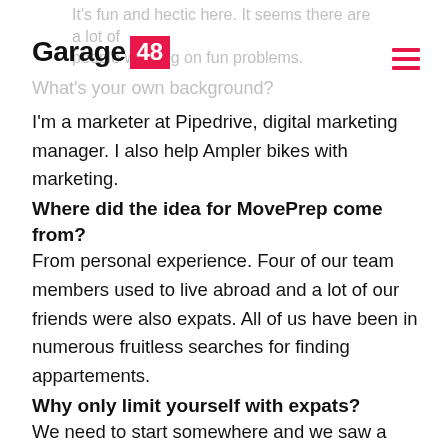It's fun and hectic here. It seems there are a lot of people working on fun problems.
[Figure (logo): Garage 48 logo — text 'Garage' in black bold next to a red box containing '48']
What's your own background?
I'm a marketer at Pipedrive, digital marketing manager. I also help Ampler bikes with marketing.
Where did the idea for MovePrep come from?
From personal experience. Four of our team members used to live abroad and a lot of our friends were also expats. All of us have been in numerous fruitless searches for finding appartements.
Why only limit yourself with expats?
We need to start somewhere and we saw a massive problem in finding an appartement when moving abroad. When you know the market, it's a lot easier. But when you move to a new place you might not have the contacts, time or other resources. Additionally, there is a lot of exciting di…